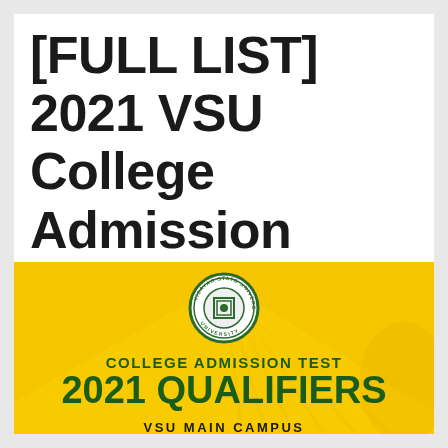[FULL LIST] 2021 VSU College Admission Test Qualifiers • Main Campus
[Figure (illustration): VSU (Visayas State University) College Admission Test 2021 Qualifiers banner image with yellow/gold background with sun rays, VSU circular seal/logo, text 'COLLEGE ADMISSION TEST', '2021 QUALIFIERS', and 'VSU MAIN CAMPUS' on a gold banner.]